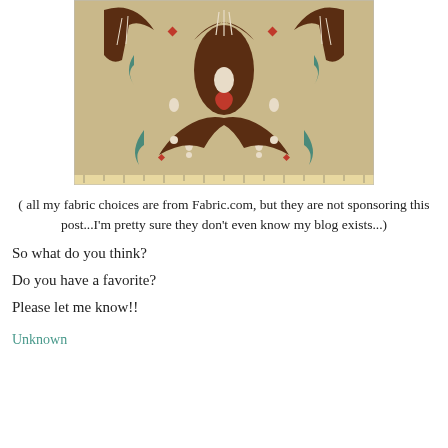[Figure (photo): Close-up photograph of ikat-patterned fabric featuring brown, red, teal, and cream designs on a beige/tan background, with a ruler visible along the bottom edge.]
( all my fabric choices are from Fabric.com, but they are not sponsoring this post...I'm pretty sure they don't even know my blog exists...)
So what do you think?
Do you have a favorite?
Please let me know!!
Unknown